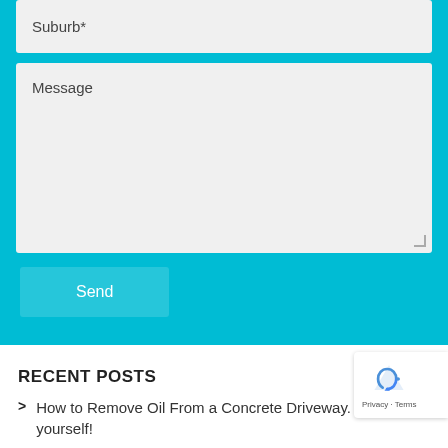Suburb*
Message
Send
RECENT POSTS
How to Remove Oil From a Concrete Driveway. Do it yourself!
Will high pressure water cleaning damage my driveway?